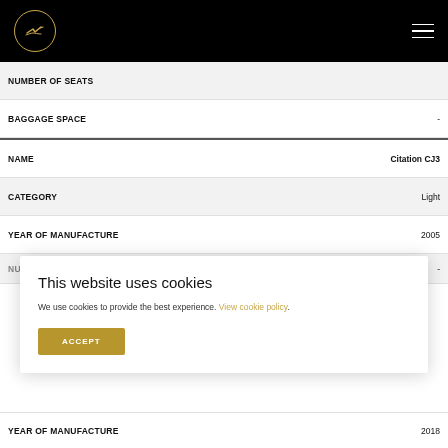Logo and navigation header
| Field | Value |
| --- | --- |
| NUMBER OF SEATS |  |
| BAGGAGE SPACE | - |
| NAME | Citation CJ3 |
| CATEGORY | Light |
| YEAR OF MANUFACTURE | 2005 |
| NUMBER OF SERIES | - |
This website uses cookies
We use cookies to provide the best experience. View cookie policy.
ACCEPT
| Field | Value |
| --- | --- |
| YEAR OF MANUFACTURE | 2018 |